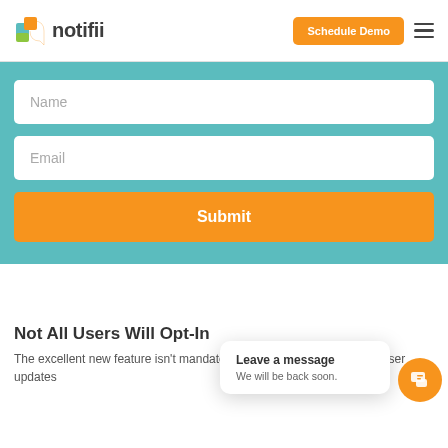[Figure (logo): Notifii logo with colorful cube icon and dark text 'notifii']
Schedule Demo
[Figure (screenshot): Teal background form section with Name input, Email input, and orange Submit button]
Not All Users Will Opt-In
The excellent new feature isn't mandatory to all iOS 15 users. After a user updates
Leave a message
We will be back soon.